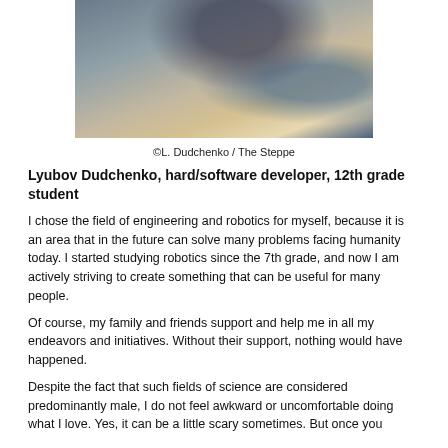[Figure (photo): Person working at a workbench with electronic components, tools, and parts spread out on the table.]
©L. Dudchenko / The Steppe
Lyubov Dudchenko, hard/software developer, 12th grade student
I chose the field of engineering and robotics for myself, because it is an area that in the future can solve many problems facing humanity today. I started studying robotics since the 7th grade, and now I am actively striving to create something that can be useful for many people.
Of course, my family and friends support and help me in all my endeavors and initiatives. Without their support, nothing would have happened.
Despite the fact that such fields of science are considered predominantly male, I do not feel awkward or uncomfortable doing what I love. Yes, it can be a little scary sometimes. But once you